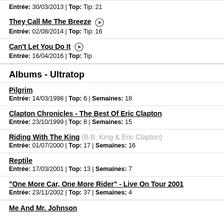Entrée: 30/03/2013 | Top: Tip: 21
They Call Me The Breeze
Entrée: 02/08/2014 | Top: Tip: 16
Can't Let You Do It
Entrée: 16/04/2016 | Top: Tip
Albums - Ultratop
Pilgrim
Entrée: 14/03/1998 | Top: 6 | Semaines: 18
Clapton Chronicles - The Best Of Eric Clapton
Entrée: 23/10/1999 | Top: 8 | Semaines: 15
Riding With The King (B.B. King & Eric Clapton)
Entrée: 01/07/2000 | Top: 17 | Semaines: 16
Reptile
Entrée: 17/03/2001 | Top: 13 | Semaines: 7
"One More Car, One More Rider" - Live On Tour 2001
Entrée: 23/11/2002 | Top: 37 | Semaines: 4
Me And Mr. Johnson